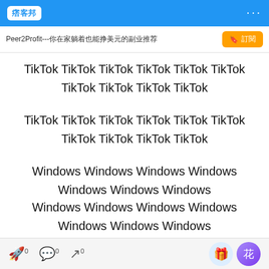痞客邦
Peer2Profit---你在家躺着也能挣美元的副业推荐
TikTok TikTok TikTok TikTok TikTok TikTok TikTok TikTok TikTok TikTok
TikTok TikTok TikTok TikTok TikTok TikTok TikTok TikTok TikTok TikTok
Windows Windows Windows Windows Windows Windows Windows
Windows Windows Windows Windows Windows Windows Windows
Windows Windows Windows Windows
0 0 0